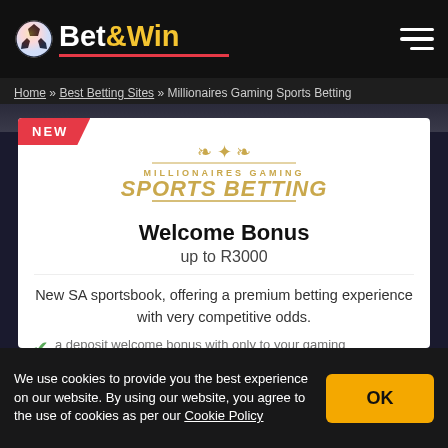Bet&Win
Home » Best Betting Sites » Millionaires Gaming Sports Betting
[Figure (logo): Millionaires Gaming Sports Betting logo with golden ornamental decoration and gold text]
Welcome Bonus
up to R3000
New SA sportsbook, offering a premium betting experience with very competitive odds.
a deposit welcome bonus with only to your gaming
We use cookies to provide you the best experience on our website. By using our website, you agree to the use of cookies as per our Cookie Policy